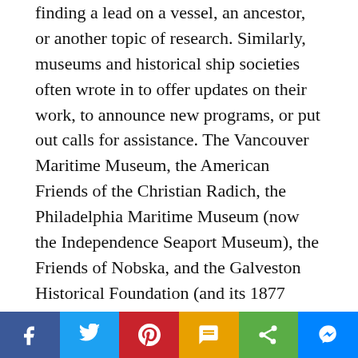finding a lead on a vessel, an ancestor, or another topic of research. Similarly, museums and historical ship societies often wrote in to offer updates on their work, to announce new programs, or put out calls for assistance. The Vancouver Maritime Museum, the American Friends of the Christian Radich, the Philadelphia Maritime Museum (now the Independence Seaport Museum), the Friends of Nobska, and the Galveston Historical Foundation (and its 1877 barque Elissa, featured in the image above) are just some of the organizations to take advantage of our Letters feature to reach out to the wider community.
As the internet and social media have given people access to bountiful research resources and multiple platforms to reach out to the public, we have, of
Share buttons: Facebook, Twitter, Pinterest, SMS, Share, Messenger